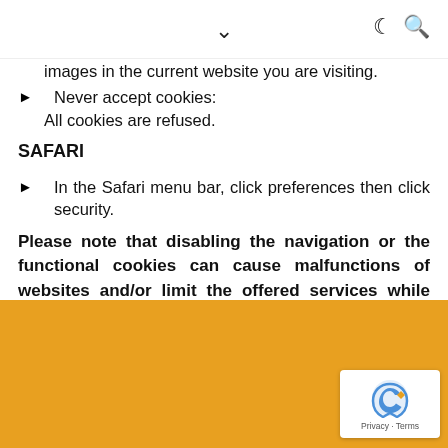navigation icons: chevron, moon, search
images in the current website you are visiting.
Never accept cookies:
All cookies are refused.
SAFARI
In the Safari menu bar, click preferences then click security.
Please note that disabling the navigation or the functional cookies can cause malfunctions of websites and/or limit the offered services while browsing.